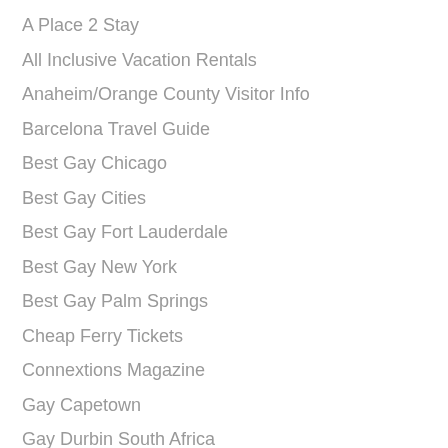A Place 2 Stay
All Inclusive Vacation Rentals
Anaheim/Orange County Visitor Info
Barcelona Travel Guide
Best Gay Chicago
Best Gay Cities
Best Gay Fort Lauderdale
Best Gay New York
Best Gay Palm Springs
Cheap Ferry Tickets
Connextions Magazine
Gay Capetown
Gay Durbin South Africa